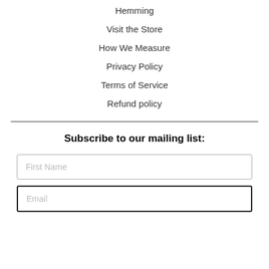Hemming
Visit the Store
How We Measure
Privacy Policy
Terms of Service
Refund policy
Subscribe to our mailing list:
First Name
Email